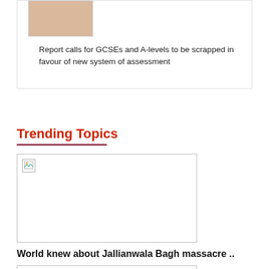[Figure (photo): Thumbnail image placeholder with beige/tan background color]
Report calls for GCSEs and A-levels to be scrapped in favour of new system of assessment
Trending Topics
[Figure (photo): Large article image placeholder with broken image icon]
World knew about Jallianwala Bagh massacre ..
[Figure (photo): Second article image placeholder with broken image icon]